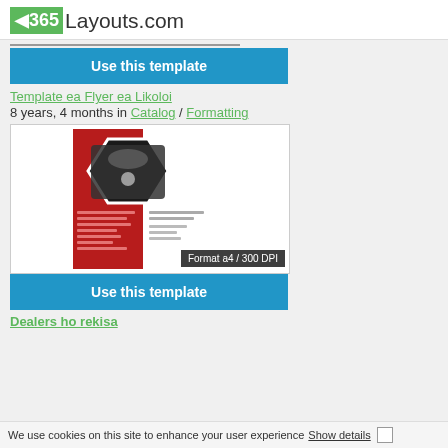365Layouts.com
Use this template
Template ea Flyer ea Likoloi
8 years, 4 months in Catalog / Formatting
[Figure (screenshot): Car flyer template thumbnail showing a black VW car in a hexagonal frame on a red and white background with text fields below. Badge reads: Format a4 / 300 DPI]
Use this template
Dealers ho rekisa
We use cookies on this site to enhance your user experience  Show details